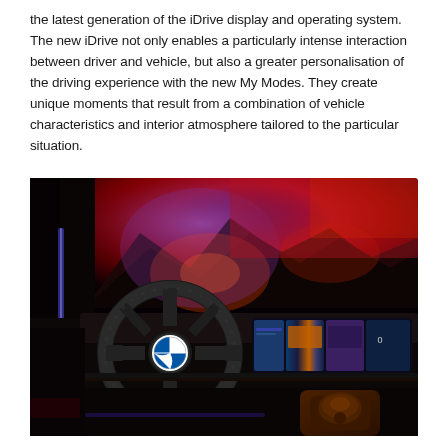the latest generation of the iDrive display and operating system. The new iDrive not only enables a particularly intense interaction between driver and vehicle, but also a greater personalisation of the driving experience with the new My Modes. They create unique moments that result from a combination of vehicle characteristics and interior atmosphere tailored to the particular situation.
[Figure (photo): BMW vehicle interior showing the steering wheel with BMW logo, curved digital instrument cluster and wide infotainment display. The ambient lighting and large display in the background shows a dramatic red and purple volcanic landscape scene, illustrating the My Modes feature of the iDrive system.]